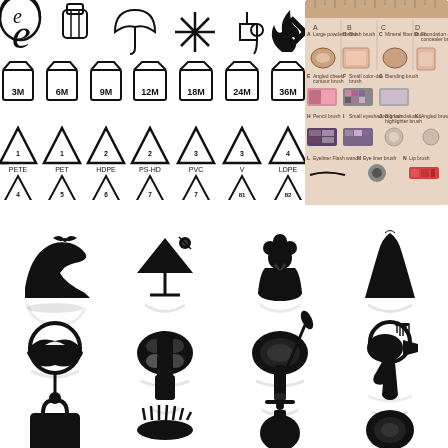[Figure (infographic): Grid of product care and recycling symbols including open-lid jar (PAO), umbrella/waterproof, snowflake, fire, X mark, and period-after-opening icons (3M, 6M, 9M, 12M, 18M, 24M, 36M), plus plastic resin recycling codes (PETE, PET, HDPE, PS-HD, PVC, V, LDPE, PE-LD, PP, PS, O, OTHER, C/LDE, C/PAP)]
[Figure (infographic): Makeup brush guide chart showing labeled brushes A-N including large powder brush, blush brush, mineral fiber brush, foundation brush, angled cheek contour brush, small color-dot brush, blending brush, pencil brush, small eyeshadow brush, big foundation highlighter brush, angled brow brush, eyeliner flash wand, eye liner brush, lip brush. Each brush shown with corresponding makeup product swatches.]
[Figure (illustration): Black silhouette icons of fashion and beauty items: high heel shoe, cocktail/martini glass, decorative vase with flowers, women's dress silhouette, lips, makeup compact with 4 pans, powder compact, hair dryer with comb, round mirror with pendant, lipstick, mascara wand, hand mirror, handbag, hair brush/comb, perfume bottle, makeup compact]